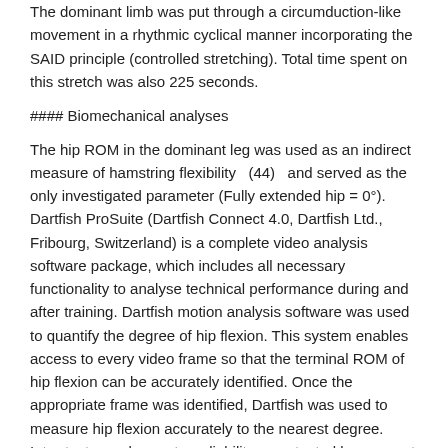The dominant limb was put through a circumduction-like movement in a rhythmic cyclical manner incorporating the SAID principle (controlled stretching). Total time spent on this stretch was also 225 seconds.
#### Biomechanical analyses
The hip ROM in the dominant leg was used as an indirect measure of hamstring flexibility   (44)   and served as the only investigated parameter (Fully extended hip = 0°). Dartfish ProSuite (Dartfish Connect 4.0, Dartfish Ltd., Fribourg, Switzerland) is a complete video analysis software package, which includes all necessary functionality to analyse technical performance during and after training. Dartfish motion analysis software was used to quantify the degree of hip flexion. This system enables access to every video frame so that the terminal ROM of hip flexion can be accurately identified. Once the appropriate frame was identified, Dartfish was used to measure hip flexion accurately to the nearest degree. Intra-tester and operator reliability were tested by a repeat analysis of 15 participant performances.